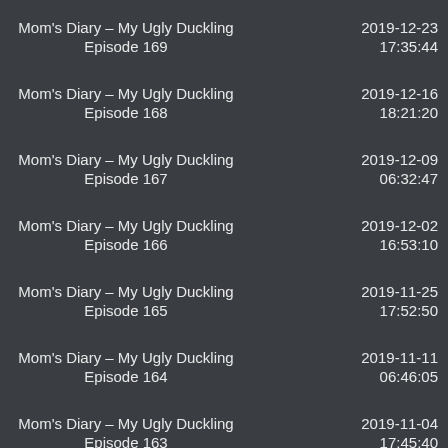Mom's Diary – My Ugly Duckling Episode 169	2019-12-23 17:35:44
Mom's Diary – My Ugly Duckling Episode 168	2019-12-16 18:21:20
Mom's Diary – My Ugly Duckling Episode 167	2019-12-09 06:32:47
Mom's Diary – My Ugly Duckling Episode 166	2019-12-02 16:53:10
Mom's Diary – My Ugly Duckling Episode 165	2019-11-25 17:52:50
Mom's Diary – My Ugly Duckling Episode 164	2019-11-11 06:46:05
Mom's Diary – My Ugly Duckling Episode 163	2019-11-04 17:45:40